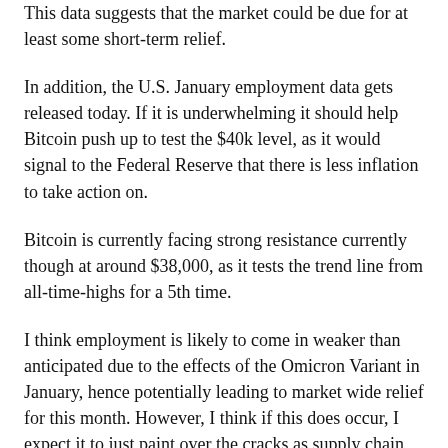This data suggests that the market could be due for at least some short-term relief.
In addition, the U.S. January employment data gets released today. If it is underwhelming it should help Bitcoin push up to test the $40k level, as it would signal to the Federal Reserve that there is less inflation to take action on.
Bitcoin is currently facing strong resistance currently though at around $38,000, as it tests the trend line from all-time-highs for a 5th time.
I think employment is likely to come in weaker than anticipated due to the effects of the Omicron Variant in January, hence potentially leading to market wide relief for this month. However, I think if this does occur, I expect it to just paint over the cracks as supply chain issues are persistent at the moment.